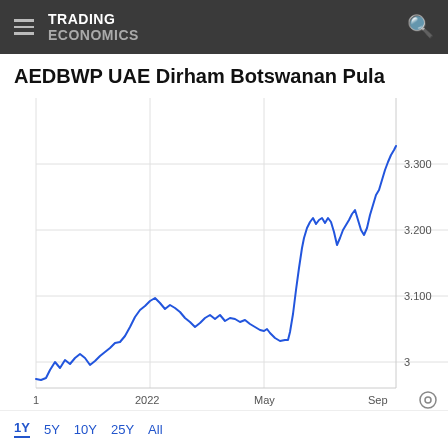TRADING ECONOMICS
AEDBWP UAE Dirham Botswanan Pula
[Figure (continuous-plot): Line chart showing AEDBWP UAE Dirham to Botswanan Pula exchange rate over approximately 1 year. The rate starts around 2.96 in January 2022, rises to about 3.22 by early 2022, dips, consolidates around 3.10-3.20 through mid-2022, then sharply rises to above 3.30 by September 2022. Y-axis labels: 3, 3.100, 3.200, 3.300. X-axis labels: 1, 2022, May, Sep.]
1Y  5Y  10Y  25Y  All